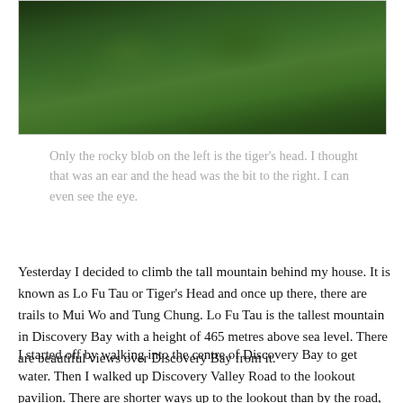[Figure (photo): A photo of a forested hillside with dense green tree canopy, representing the Tiger's Head mountain (Lo Fu Tau) in Discovery Bay.]
Only the rocky blob on the left is the tiger's head. I thought that was an ear and the head was the bit to the right. I can even see the eye.
Yesterday I decided to climb the tall mountain behind my house. It is known as Lo Fu Tau or Tiger's Head and once up there, there are trails to Mui Wo and Tung Chung. Lo Fu Tau is the tallest mountain in Discovery Bay with a height of 465 metres above sea level. There are beautiful views over Discovery Bay from it.
I started off by walking into the centre of Discovery Bay to get water. Then I walked up Discovery Valley Road to the lookout pavilion. There are shorter ways up to the lookout than by the road, but I wanted a smooth road rather than a rough path or stairs as most of the walk I was about to do would be those. At the lookout pavilion a couple asked me to take their photo then they took mine. They were doing the same walk as me and we bumped into each other repeatedly all day. All around the lookout pavilion and in many other